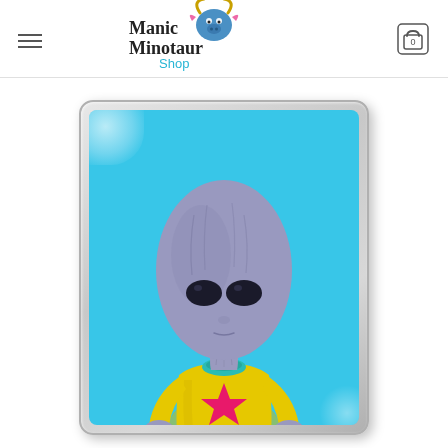Manic Minotaur Shop
[Figure (illustration): A cartoon alien character with a large grey elongated head, small black eyes, wearing a yellow suit with a pink/magenta star on the chest and a teal collar, standing against a bright blue background inside a silver/grey rounded card frame resembling a pin or badge.]